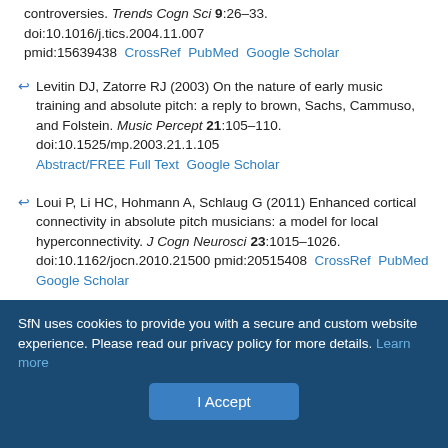[partial] controversies. Trends Cogn Sci 9:26–33. doi:10.1016/j.tics.2004.11.007 pmid:15639438 CrossRef PubMed Google Scholar
Levitin DJ, Zatorre RJ (2003) On the nature of early music training and absolute pitch: a reply to brown, Sachs, Cammuso, and Folstein. Music Percept 21:105–110. doi:10.1525/mp.2003.21.1.105 Abstract/FREE Full Text Google Scholar
Loui P, Li HC, Hohmann A, Schlaug G (2011) Enhanced cortical connectivity in absolute pitch musicians: a model for local hyperconnectivity. J Cogn Neurosci 23:1015–1026. doi:10.1162/jocn.2010.21500 pmid:20515408 CrossRef PubMed Google Scholar
Loui P, Zamm A, Schlaug G (2012) Enhanced functional networks in absolute pitch. Neuroimage 63:632–640. doi:10.1016/j.neuroimage.2012.07.030 pmid:22836173 CrossRef
SfN uses cookies to provide you with a secure and custom website experience. Please read our privacy policy for more details. Learn more